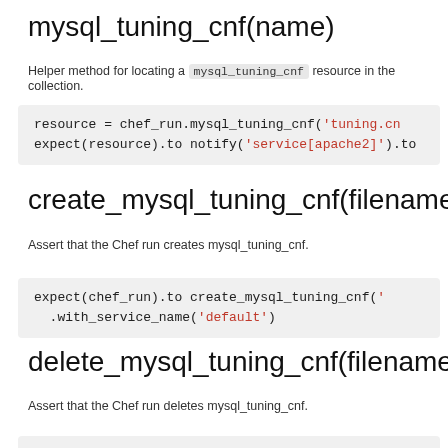mysql_tuning_cnf(name)
Helper method for locating a mysql_tuning_cnf resource in the collection.
resource = chef_run.mysql_tuning_cnf('tuning.cn
expect(resource).to notify('service[apache2]').to
create_mysql_tuning_cnf(filename)
Assert that the Chef run creates mysql_tuning_cnf.
expect(chef_run).to create_mysql_tuning_cnf('
  .with_service_name('default')
delete_mysql_tuning_cnf(filename)
Assert that the Chef run deletes mysql_tuning_cnf.
expect(chef_run).to delete_mysql_tuning_cnf('